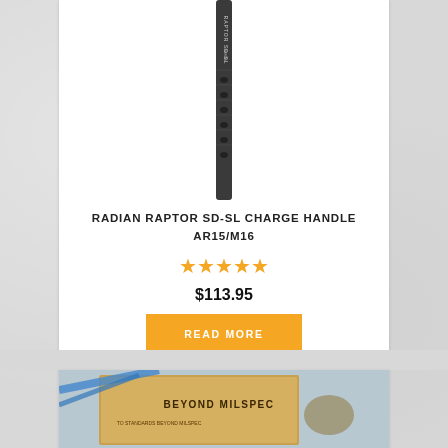[Figure (photo): Radian Raptor SD-SL charge handle product photo - dark elongated narrow component photographed vertically against white background]
RADIAN RAPTOR SD-SL CHARGE HANDLE AR15/M16
[Figure (other): Five orange/gold star rating icons]
$113.95
READ MORE
[Figure (photo): Second product image partially visible - orange/tan colored box with text reading BEYOND MILSPEC]